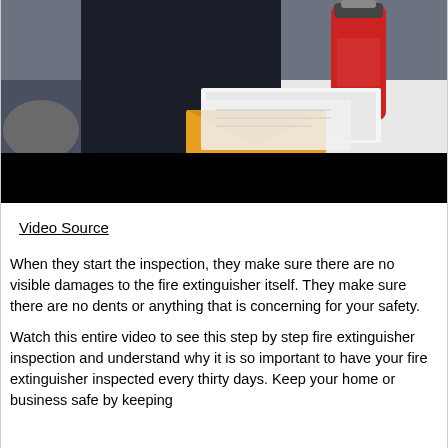[Figure (photo): A person sitting at a white table holding a red fire extinguisher. Papers and an orange envelope are visible on the table. The bottom portion of the image is a black bar (video player area).]
Video Source
When they start the inspection, they make sure there are no visible damages to the fire extinguisher itself. They make sure there are no dents or anything that is concerning for your safety.
Watch this entire video to see this step by step fire extinguisher inspection and understand why it is so important to have your fire extinguisher inspected every thirty days. Keep your home or business safe by keeping